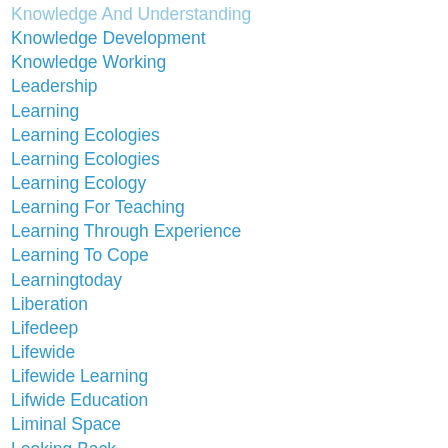Knowledge And Understanding
Knowledge Development
Knowledge Working
Leadership
Learning
Learning Ecologies
Learning Ecologies
Learning Ecology
Learning For Teaching
Learning Through Experience
Learning To Cope
Learningtoday
Liberation
Lifedeep
Lifewide
Lifewide Learning
Lifwide Education
Liminal Space
Looking Back
Love
Making A Difference